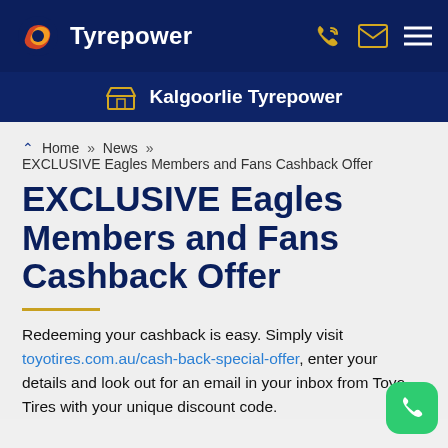Tyrepower
Kalgoorlie Tyrepower
Home >> News >> EXCLUSIVE Eagles Members and Fans Cashback Offer
EXCLUSIVE Eagles Members and Fans Cashback Offer
Redeeming your cashback is easy. Simply visit toyotires.com.au/cash-back-special-offer, enter your details and look out for an email in your inbox from Toyo Tires with your unique discount code.